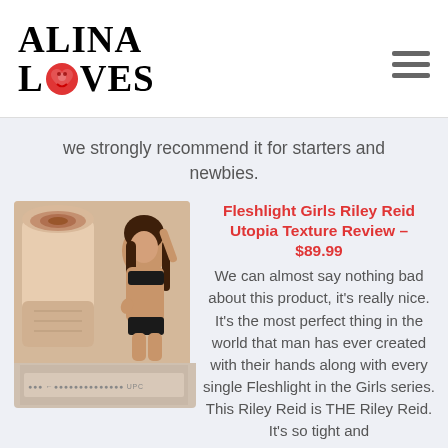ALINA LOVES
we strongly recommend it for starters and newbies.
[Figure (photo): Product image of Fleshlight Girls Riley Reid Utopia: fleshlight device shown with woman in bikini, plus product side view below]
Fleshlight Girls Riley Reid Utopia Texture Review – $89.99
We can almost say nothing bad about this product, it's really nice. It's the most perfect thing in the world that man has ever created with their hands along with every single Fleshlight in the Girls series. This Riley Reid is THE Riley Reid. It's so tight and